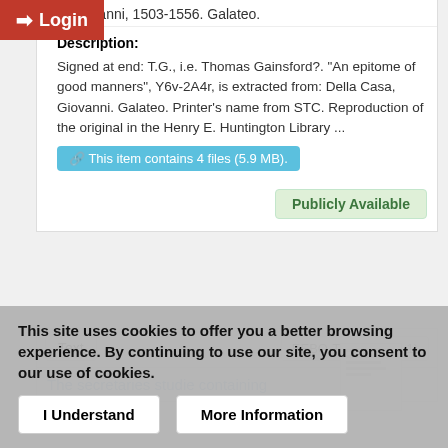sa, Giovanni, 1503-1556. Galateo.
Description:
Signed at end: T.G., i.e. Thomas Gainsford?. "An epitome of good manners", Y6v-2A4r, is extracted from: Della Casa, Giovanni. Galateo. Printer's name from STC. Reproduction of the original in the Henry E. Huntington Library ...
This item contains 4 files (5.9 MB).
Publicly Available
Text
EEBO-TCP (Phase 1)
The secretaries studie containing
This site uses cookies to offer you a better browsing experience. By continuing to use our site, you consent to our use of cookies.
I Understand
More Information